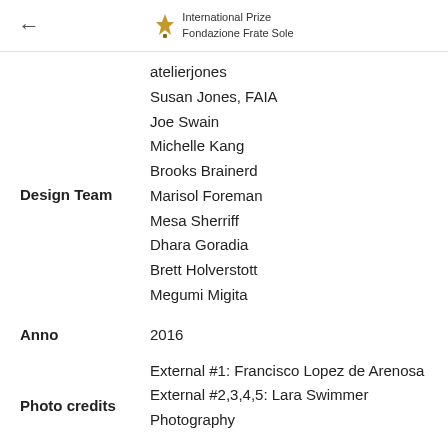International Prize Fondazione Frate Sole
atelierjones
Susan Jones, FAIA
Joe Swain
Michelle Kang
Brooks Brainerd
Design Team
Marisol Foreman
Mesa Sherriff
Dhara Goradia
Brett Holverstott
Megumi Migita
Anno
2016
Photo credits
External #1: Francisco Lopez de Arenosa
External #2,3,4,5: Lara Swimmer Photography